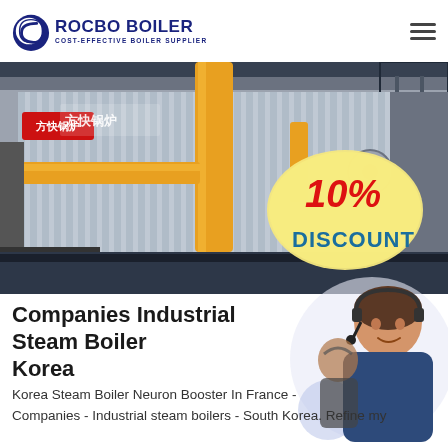[Figure (logo): Rocbo Boiler logo with circular icon and text 'ROCBO BOILER / COST-EFFECTIVE BOILER SUPPLIER']
[Figure (photo): Industrial steam boiler with corrugated metal exterior and yellow pipes in a factory, with a '10% DISCOUNT' promotional badge overlay]
Companies Industrial Steam Boiler Korea
Korea Steam Boiler Neuron Booster In France - Companies - Industrial steam boilers - South Korea. Refine my